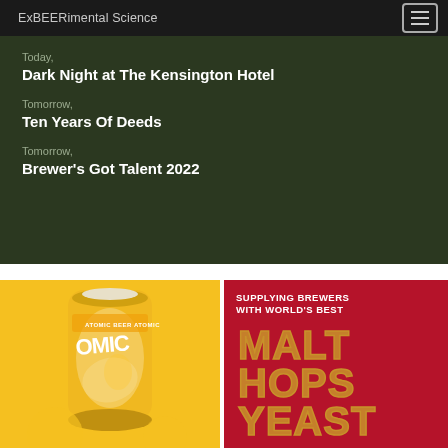ExBEERimental Science
Today, Dark Night at The Kensington Hotel
Tomorrow, Ten Years Of Deeds
Tomorrow, Brewer's Got Talent 2022
[Figure (photo): Yellow can of Atomic Beer on yellow background]
[Figure (infographic): Red background ad with text: SUPPLYING BREWERS WITH WORLD'S BEST MALT HOPS YEAST]